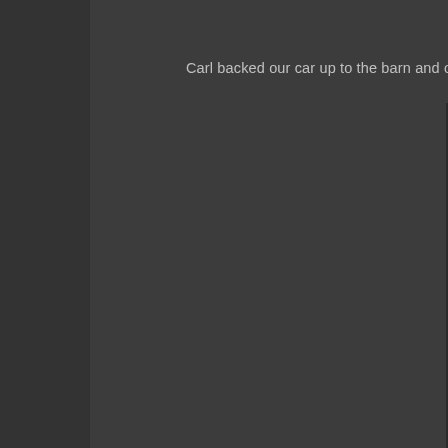Carl backed our car up to the barn and opened the trunk.  We a
[Figure (photo): Close-up photograph of an ornate architectural stone element or decorative plaque with carved acanthus leaf motifs and scrollwork, painted or weathered in gray-blue tones, with a sandy/beige concrete background. The decorative element appears to be a framed cartouche or ornamental bracket viewed at an angle.]